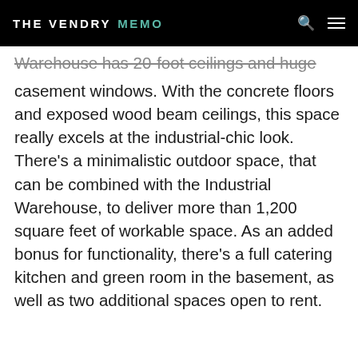THE VENDRY MEMO
Warehouse has 20-foot ceilings and huge casement windows. With the concrete floors and exposed wood beam ceilings, this space really excels at the industrial-chic look. There's a minimalistic outdoor space, that can be combined with the Industrial Warehouse, to deliver more than 1,200 square feet of workable space. As an added bonus for functionality, there's a full catering kitchen and green room in the basement, as well as two additional spaces open to rent.